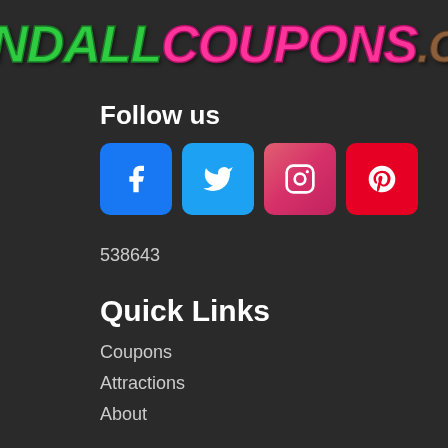[Figure (logo): KendallCoupons.com logo in stylized graffiti-style text, 'Kendall' in green, 'Coupons' in pink/magenta, '.com' in brown, all italic and uppercase]
Follow us
[Figure (infographic): Four social media icon buttons: Facebook (blue), Twitter (blue), Instagram (pink/red gradient), Pinterest (red)]
538643
Quick Links
Coupons
Attractions
About